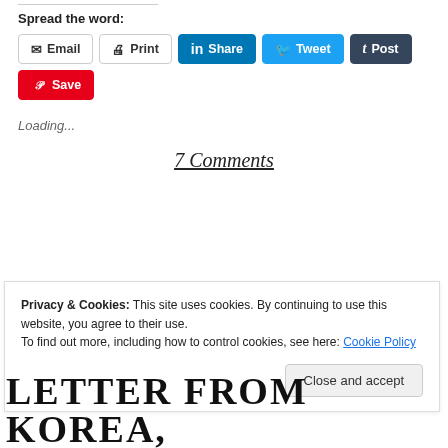Spread the word:
[Figure (screenshot): Social sharing buttons: Email, Print, Share (LinkedIn), Tweet (Twitter), Post (Tumblr), Save (Pinterest)]
Loading...
7 Comments
Privacy & Cookies: This site uses cookies. By continuing to use this website, you agree to their use. To find out more, including how to control cookies, see here: Cookie Policy
Close and accept
LETTER FROM KOREA,